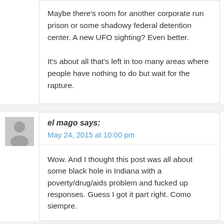Maybe there's room for another corporate run prison or some shadowy federal detention center. A new UFO sighting? Even better.

It's about all that's left in too many areas where people have nothing to do but wait for the rapture.
el mago says:
May 24, 2015 at 10:00 pm
Wow. And I thought this post was all about some black hole in Indiana with a poverty/drug/aids problem and fucked up responses. Guess I got it part right. Como siempre.
cromartie says: